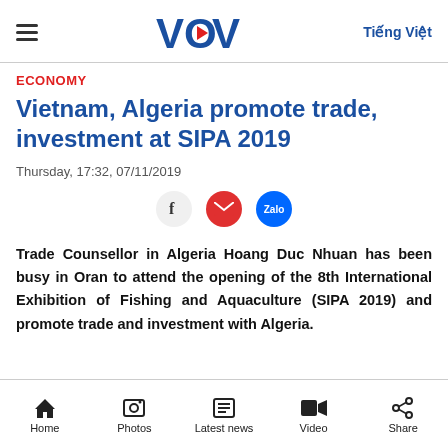VOV — Tiếng Việt
ECONOMY
Vietnam, Algeria promote trade, investment at SIPA 2019
Thursday, 17:32, 07/11/2019
[Figure (other): Social sharing icons: Facebook, Email (red envelope), Zalo (blue circle)]
Trade Counsellor in Algeria Hoang Duc Nhuan has been busy in Oran to attend the opening of the 8th International Exhibition of Fishing and Aquaculture (SIPA 2019) and promote trade and investment with Algeria.
Home | Photos | Latest news | Video | Share